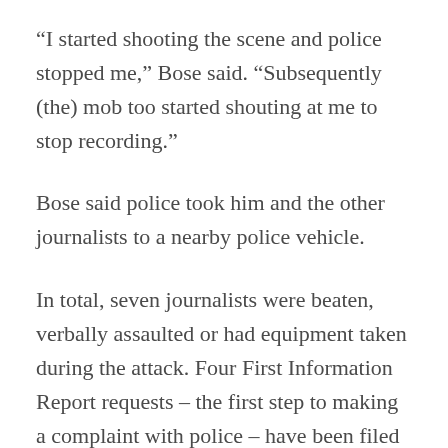“I started shooting the scene and police stopped me,” Bose said. “Subsequently (the) mob too started shouting at me to stop recording.”
Bose said police took him and the other journalists to a nearby police vehicle.
In total, seven journalists were beaten, verbally assaulted or had equipment taken during the attack. Four First Information Report requests – the first step to making a complaint with police – have been filed over the April 3 incident.